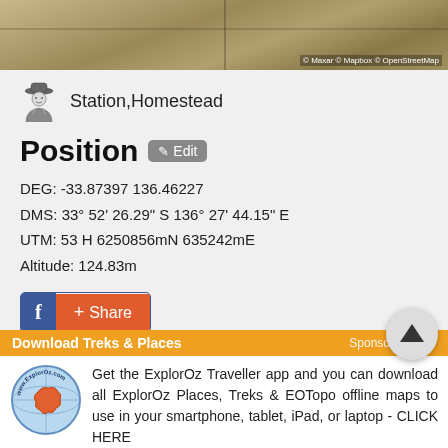[Figure (screenshot): Aerial/satellite map view of agricultural fields with attribution: © Maxar © Mapbox © OpenStreetMap]
Station,Homestead
Position
DEG: -33.87397 136.46227
DMS: 33° 52' 26.29" S 136° 27' 44.15" E
UTM: 53 H 6250856mN 635242mE
Altitude: 124.83m
[Figure (other): Facebook Share button with blue Facebook icon and orange +Share button]
Download Treks & Places
Sponsor Message
Get the ExplorOz Traveller app and you can download all ExplorOz Places, Treks & EOTopo offline maps to use in your smartphone, tablet, iPad, or laptop - CLICK HERE